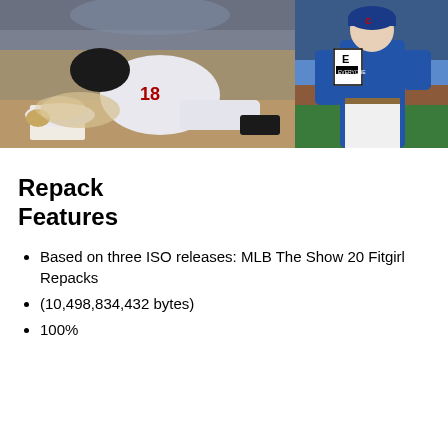[Figure (photo): Two side-by-side screenshots from MLB The Show 20 video game. Left image shows a baseball player wearing jersey number 18 sliding into base with dust cloud. Right image shows a Chicago Cubs player in blue uniform standing, with an ESRB E rating badge visible.]
Repack Features
Based on three ISO releases: MLB The Show 20 Fitgirl Repacks
(10,498,834,432 bytes)
100%